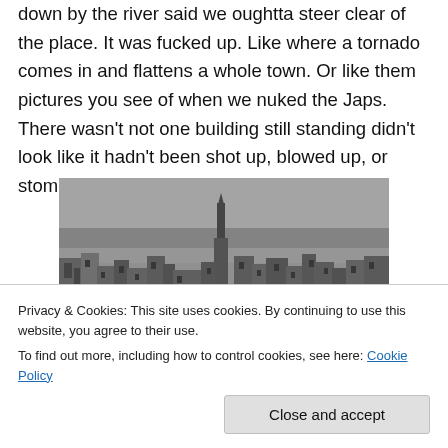down by the river said we oughtta steer clear of the place. It was fucked up. Like where a tornado comes in and flattens a whole town. Or like them pictures you see of when we nuked the Japs. There wasn't not one building still standing didn't look like it hadn't been shot up, blowed up, or stomped on by Godzilla.
[Figure (photo): Black and white aerial photograph of a heavily bombed and destroyed city, showing ruined buildings and rubble across the urban landscape, with a tall building or tower still partially standing in the center background.]
Privacy & Cookies: This site uses cookies. By continuing to use this website, you agree to their use.
To find out more, including how to control cookies, see here: Cookie Policy